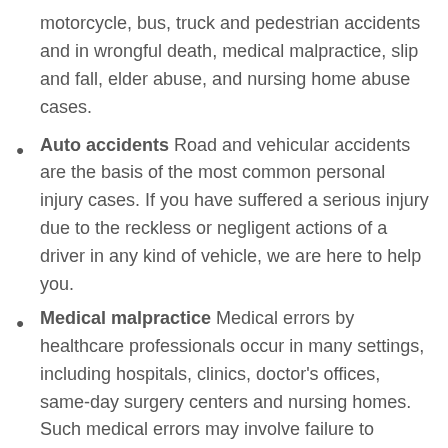motorcycle, bus, truck and pedestrian accidents and in wrongful death, medical malpractice, slip and fall, elder abuse, and nursing home abuse cases.
Auto accidents Road and vehicular accidents are the basis of the most common personal injury cases. If you have suffered a serious injury due to the reckless or negligent actions of a driver in any kind of vehicle, we are here to help you.
Medical malpractice Medical errors by healthcare professionals occur in many settings, including hospitals, clinics, doctor's offices, same-day surgery centers and nursing homes. Such medical errors may involve failure to diagnose or actions that result in catastrophic permanent injury and even death. The personal injury lawyer of Honolulu, Hawaii, HI fights to recover financial